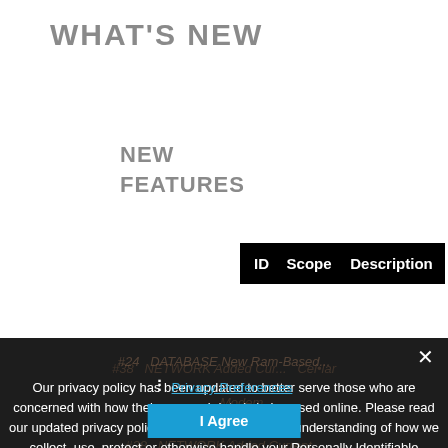WHAT'S NEW
NEW
FEATURES
| ID | Scope | Description |
| --- | --- | --- |
Our privacy policy has been updated to better serve those who are concerned with how their personal data is being used online. Please read our updated privacy policy carefully to get a clear understanding of how we collect, use, protect or otherwise handle your Personally Identifiable Information (PII).
› Privacy Preferences
I Agree